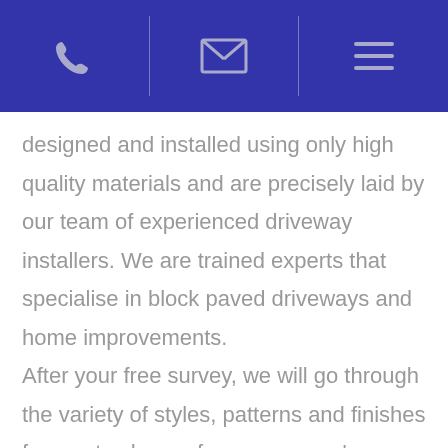[phone icon] | [email icon] | [menu icon]
designed and installed using only high quality materials and are precisely laid by our team of experienced driveway installers. We are trained experts that specialise in block paved driveways and home improvements. After your free survey, we will go through the variety of styles, patterns and finishes for you to choose from, once you're happy with the design we'll arrange a start date to begin your new paved driveway in Chappel. With every driveway we utilise our professional laying techniques and machinery to finish